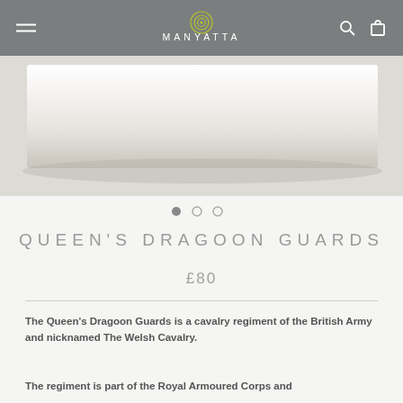MANYATTA
[Figure (photo): White product box on grey background]
QUEEN'S DRAGOON GUARDS
£80
The Queen's Dragoon Guards is a cavalry regiment of the British Army and nicknamed The Welsh Cavalry.
The regiment is part of the Royal Armoured Corps and